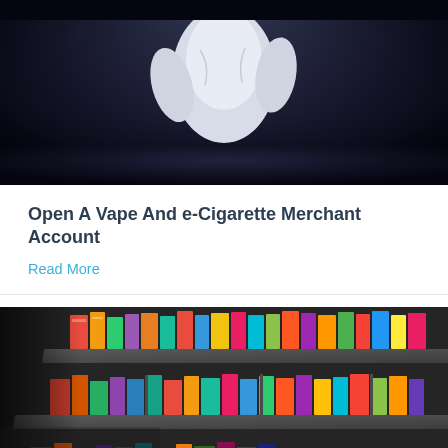[Figure (photo): Person in white shirt against dark background, top portion of image shown]
Open A Vape And e-Cigarette Merchant Account
Read More
[Figure (photo): Store shelves stocked with vape and e-cigarette products in colorful packaging, viewed from an angle with a person visible at bottom]